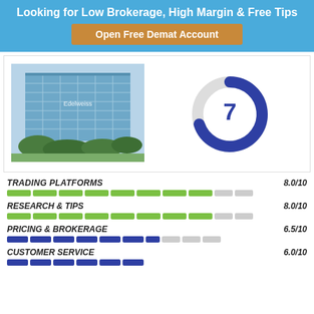Looking for Low Brokerage, High Margin & Free Tips
Open Free Demat Account
[Figure (photo): Photo of a large modern glass office building (Edelweiss headquarters) surrounded by trees]
[Figure (donut-chart): Donut chart showing rating of 7 out of 10, filled approx 70% in dark blue]
TRADING PLATFORMS    8.0/10
RESEARCH & TIPS    8.0/10
PRICING & BROKERAGE    6.5/10
CUSTOMER SERVICE    6.0/10